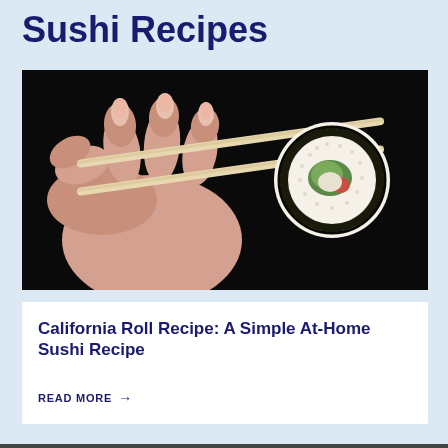Sushi Recipes
[Figure (photo): A hand holding chopsticks gripping a sushi roll (California roll) against a black background. The sushi roll shows rice on the outside with nori and fillings visible at the cross-section.]
California Roll Recipe: A Simple At-Home Sushi Recipe
READ MORE →